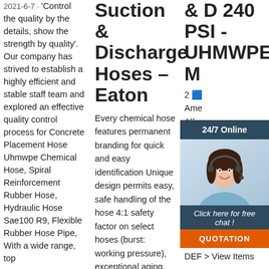2021-6-7 · 'Control the quality by the details, show the strength by quality'. Our company has strived to establish a highly efficient and stable staff team and explored an effective quality control process for Concrete Placement Hose Uhmwpe Chemical Hose, Spiral Reinforcement Rubber Hose, Hydraulic Hose Sae100 R9, Flexible Rubber Hose Pipe, With a wide range, top
Suction & Discharge Hoses – Eaton
Every chemical hose features permanent branding for quick and easy identification Unique design permits easy, safe handling of the hose 4:1 safety factor on select hoses (burst: working pressure), exceptional aging, weathering and heat resistance result in safer operation and longer hose
& D 240 PSI - UHMWPE M
2 🟦 Ame Alfa Rub Che Rub T50 Che PSI - UHMWPE Meets FDA Requirements Suitable for use with DEF > View Items
[Figure (photo): Customer service representative woman with headset, smiling, part of a 24/7 online chat widget with dark blue header, italic CTA text, and orange QUOTATION button]
[Figure (logo): TOP logo with orange dot-ring design]